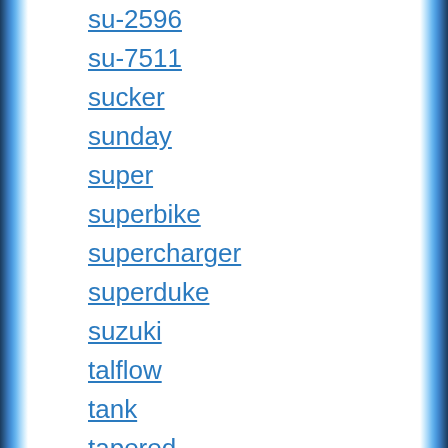su-2596
su-7511
sucker
sunday
super
superbike
supercharger
superduke
suzuki
talflow
tank
tapered
tear
terisass